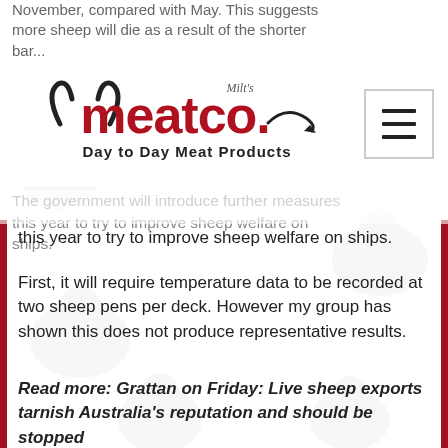November, compared with May. This suggests more sheep will die as a result of the shorter bar...
[Figure (logo): Milt's meatco. Day to Day Meat Products logo with bull horns graphic and hamburger menu icon]
The government will introduce further measures this year to try to improve sheep welfare on ships.
First, it will require temperature data to be recorded at two sheep pens per deck. However my group has shown this does not produce representative results.
Read more: Grattan on Friday: Live sheep exports tarnish Australia's reputation and should be stopped